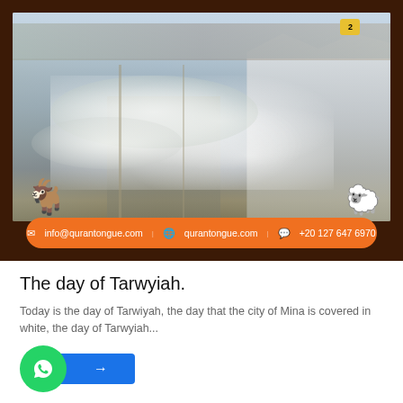[Figure (photo): Aerial/street-level photo of pilgrims dressed in white walking through the city of Mina, with large white tent structures visible on the right side. Brown decorative border with goat and sheep emoji decorations. Contact information bar at bottom: info@qurantongue.com, qurantongue.com, +20 127 647 6970.]
The day of Tarwyiah.
Today is the day of Tarwiyah, the day that the city of Mina is covered in white, the day of Tarwyiah...